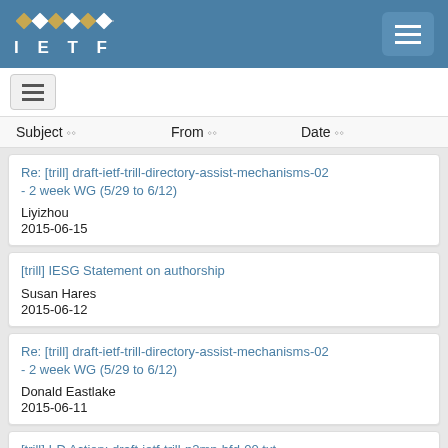IETF
| Subject | From | Date |
| --- | --- | --- |
| Re: [trill] draft-ietf-trill-directory-assist-mechanisms-02 - 2 week WG (5/29 to 6/12) | Liyizhou | 2015-06-15 |
| [trill] IESG Statement on authorship | Susan Hares | 2015-06-12 |
| Re: [trill] draft-ietf-trill-directory-assist-mechanisms-02 - 2 week WG (5/29 to 6/12) | Donald Eastlake | 2015-06-11 |
| [trill] I-D Action: draft-ietf-trill-p2mp-bfd-00.txt |  |  |
Re: [trill] draft-ietf-trill-directory-assist-mechanisms-02 - 2 week WG (5/29 to 6/12)
Liyizhou
2015-06-15
[trill] IESG Statement on authorship
Susan Hares
2015-06-12
Re: [trill] draft-ietf-trill-directory-assist-mechanisms-02 - 2 week WG (5/29 to 6/12)
Donald Eastlake
2015-06-11
[trill] I-D Action: draft-ietf-trill-p2mp-bfd-00.txt